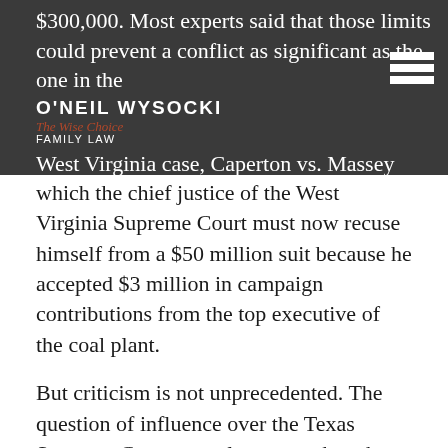$300,000. Most experts said that those limits could prevent a conflict as significant as the one in the West Virginia case, Caperton vs. Massey Coal Co., in
which the chief justice of the West Virginia Supreme Court must now recuse himself from a $50 million suit because he accepted $3 million in campaign contributions from the top executive of the coal plant.
But criticism is not unprecedented. The question of influence over the Texas Supreme Court arose last year when the court overturned an $800,000 arbitration award to Bob and Jane Cull of Mansfield, who had sued Houston homebuilder Bob Perry, the largest GOP contributor in the state. The Culls had lodged a 10-year fight over a house with cracked foundations and walls, but their court victories were